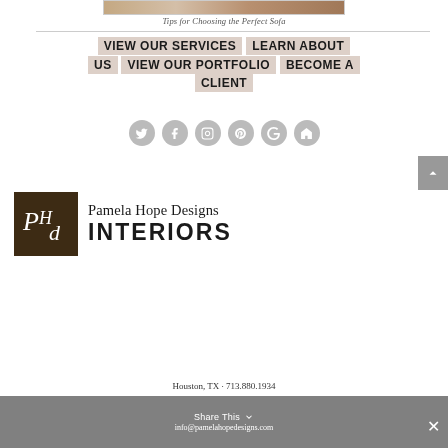[Figure (photo): Partial photo of a sofa/furniture at top of page]
Tips for Choosing the Perfect Sofa
VIEW OUR SERVICES LEARN ABOUT US VIEW OUR PORTFOLIO BECOME A CLIENT
[Figure (other): Social media icons: Twitter, Facebook, Instagram, Pinterest, Google+, Houzz]
[Figure (logo): Pamela Hope Designs Interiors logo with brown square PHd monogram]
Houston, TX · 713.880.1934
Share This
info@pamelahopedesigns.com